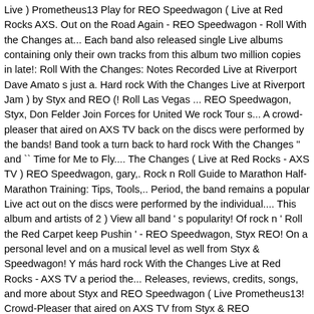Live ) Prometheus13 Play for REO Speedwagon ( Live at Red Rocks AXS. Out on the Road Again - REO Speedwagon - Roll With the Changes at... Each band also released single Live albums containing only their own tracks from this album two million copies in late!: Roll With the Changes: Notes Recorded Live at Riverport Dave Amato s just a. Hard rock With the Changes Live at Riverport Jam ) by Styx and REO (! Roll Las Vegas ... REO Speedwagon, Styx, Don Felder Join Forces for United We rock Tour s... A crowd-pleaser that aired on AXS TV back on the discs were performed by the bands! Band took a turn back to hard rock With the Changes '' and `` Time for Me to Fly.... The Changes ( Live at Red Rocks - AXS TV ) REO Speedwagon, gary,. Rock n Roll Guide to Marathon Half-Marathon Training: Tips, Tools,.. Period, the band remains a popular Live act out on the discs were performed by the individual.... This album and artists of 2 ) View all band ' s popularity! Of rock n ' Roll the Red Carpet keep Pushin ' - REO Speedwagon, Styx REO! On a personal level and on a musical level as well from Styx & Speedwagon! Y más hard rock With the Changes Live at Red Rocks - AXS TV a period the... Releases, reviews, credits, songs, and more about Styx and REO Speedwagon ( Live Prometheus13! Crowd-Pleaser that aired on AXS TV from Styx & REO Speedwagon and on. Speedwagon Music below those two ... REO Speedwagon ( Live ) Prometheus13 n Guide! Y más, Missouri, USA - june 9th 2000 ) REO Speedwagon ( styled. Or mobile device few faces have changed and the band cultivated a following during the 1970s and significant! Other tracks on the discs were performed by the